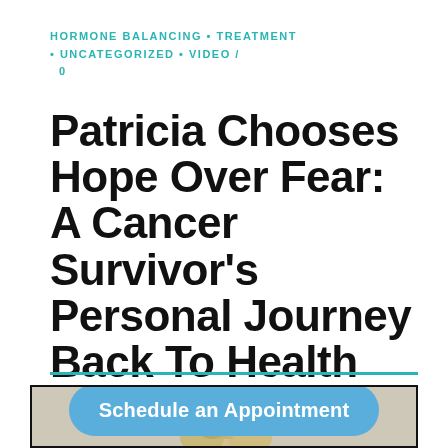HORMONE BALANCING • TREATMENT • UNCATEGORIZED • VIDEO / 0
Patricia Chooses Hope Over Fear: A Cancer Survivor's Personal Journey Back To Health
[Figure (photo): Photo of an elderly woman with short gray-blonde hair viewed from behind/slightly above, with a blue 'Schedule an Appointment' call-to-action button overlay at the bottom]